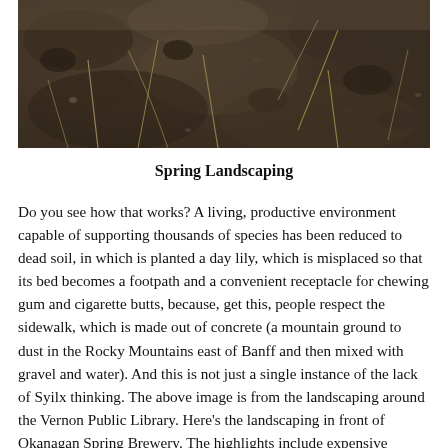[Figure (photo): Close-up photograph of dark soil/earth with some dry grass stems and small debris visible on the surface.]
Spring Landscaping
Do you see how that works? A living, productive environment capable of supporting thousands of species has been reduced to dead soil, in which is planted a day lily, which is misplaced so that its bed becomes a footpath and a convenient receptacle for chewing gum and cigarette butts, because, get this, people respect the sidewalk, which is made out of concrete (a mountain ground to dust in the Rocky Mountains east of Banff and then mixed with gravel and water). And this is not just a single instance of the lack of Syilx thinking. The above image is from the landscaping around the Vernon Public Library. Here's the landscaping in front of Okanagan Spring Brewery. The highlights include expensive composted earth, tulip bulbs from Holland (no butterflies eating those), a